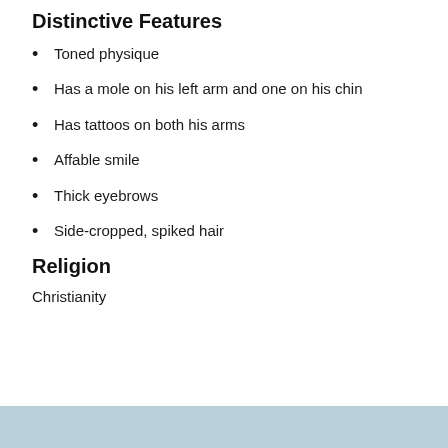Distinctive Features
Toned physique
Has a mole on his left arm and one on his chin
Has tattoos on both his arms
Affable smile
Thick eyebrows
Side-cropped, spiked hair
Religion
Christianity